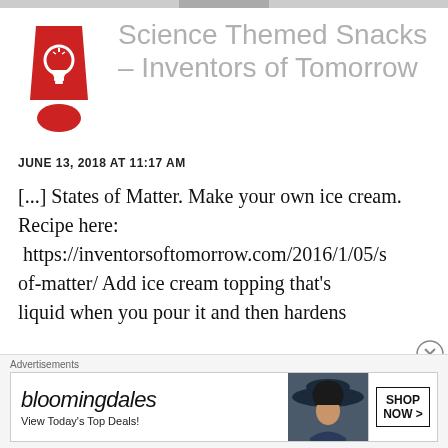[Figure (logo): Red exclamation mark shaped logo with lightbulb icon inside the dot, styled as an Inventors of Tomorrow logo]
Science Themed Snacks – Inventors of Tomorrow
JUNE 13, 2018 AT 11:17 AM
[...] States of Matter. Make your own ice cream. Recipe here: https://inventorsoftomorrow.com/2016/1/05/s of-matter/ Add ice cream topping that's liquid when you pour it and then hardens
Advertisements
[Figure (screenshot): Bloomingdale's advertisement banner with logo, 'View Today's Top Deals!' text, a woman in a hat, and a SHOP NOW button]